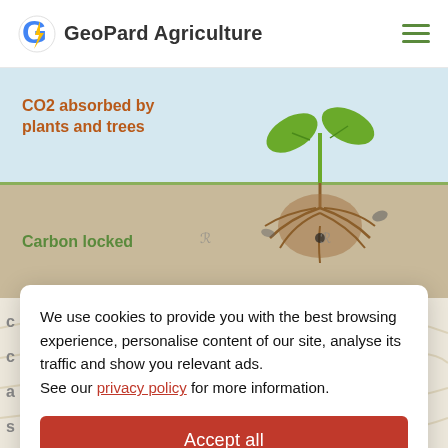GeoPard Agriculture
[Figure (illustration): Illustration of a plant with roots showing CO2 absorption above ground (blue sky background) and carbon locked in soil below (tan/brown soil background). Green plant with two leaves above soil, brown root system below.]
CO2 absorbed by plants and trees
Carbon locked
We use cookies to provide you with the best browsing experience, personalise content of our site, analyse its traffic and show you relevant ads.
See our privacy policy for more information.
Accept all